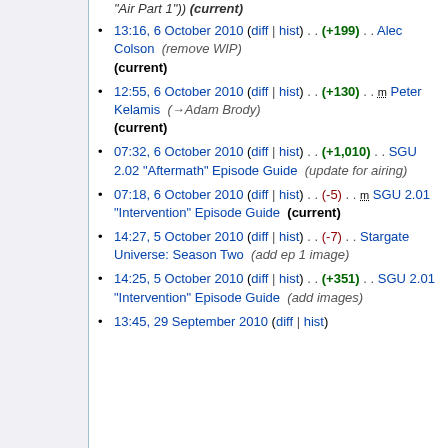"Air Part 1")) (current)
13:16, 6 October 2010 (diff | hist) . . (+199) . . Alec Colson (remove WIP) (current)
12:55, 6 October 2010 (diff | hist) . . (+130) . . m Peter Kelamis (→Adam Brody) (current)
07:32, 6 October 2010 (diff | hist) . . (+1,010) . . SGU 2.02 "Aftermath" Episode Guide (update for airing)
07:18, 6 October 2010 (diff | hist) . . (-5) . . m SGU 2.01 "Intervention" Episode Guide (current)
14:27, 5 October 2010 (diff | hist) . . (-7) . . Stargate Universe: Season Two (add ep 1 image)
14:25, 5 October 2010 (diff | hist) . . (+351) . . SGU 2.01 "Intervention" Episode Guide (add images)
13:45, 29 September 2010 (diff | hist)